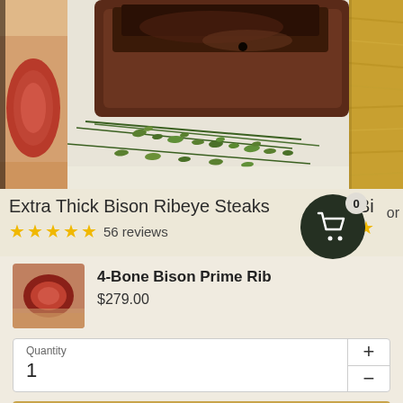[Figure (photo): Three-panel image strip: left panel shows cross-section of red meat, center panel shows a grilled steak with fresh thyme herbs on a white surface, right panel shows wooden cutting board texture.]
Extra Thick Bison Ribeye Steaks
★★★★★ 56 reviews
[Figure (photo): Small thumbnail of sliced bison prime rib showing red interior.]
4-Bone Bison Prime Rib
$279.00
Quantity
1
Sold out